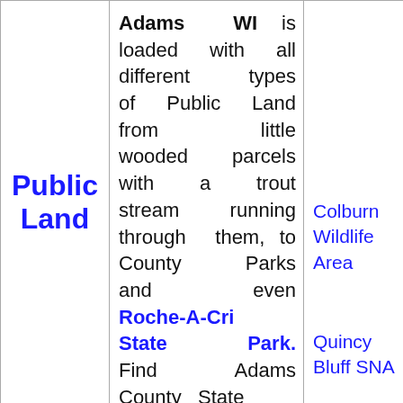Public Land
Adams WI is loaded with all different types of Public Land from little wooded parcels with a trout stream running through them, to County Parks and even Roche-A-Cri State Park. Find Adams County State
Colburn Wildlife Area

Quincy Bluff SNA